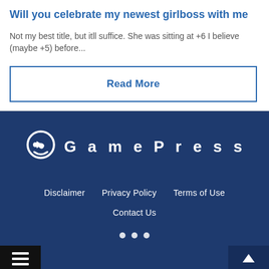Will you celebrate my newest girlboss with me
Not my best title, but itll suffice. She was sitting at +6 I believe (maybe +5) before...
Read More
[Figure (logo): GamePress logo with white icon and white text on dark navy background]
Disclaimer   Privacy Policy   Terms of Use   Contact Us
Menu   Top